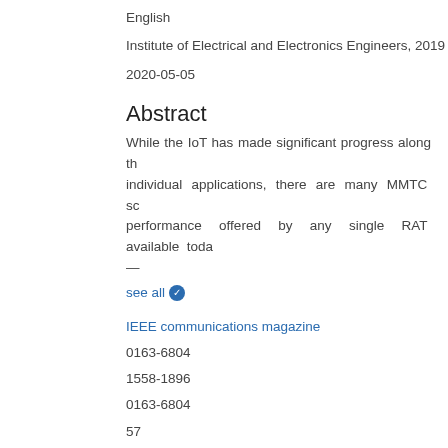English
Institute of Electrical and Electronics Engineers, 2019
2020-05-05
Abstract
While the IoT has made significant progress along th individual applications, there are many MMTC sc performance offered by any single RAT available toda —
see all
IEEE communications magazine
0163-6804
1558-1896
0163-6804
57
6
100 - 106
10.1109/MCOM.2019.1800394
https://oadoi.org/10.1109/MCOM.2019.1800394
A1 Journal article – refereed